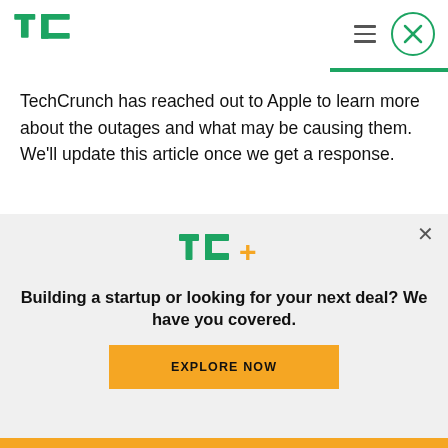TechCrunch logo header with hamburger menu and close button
TechCrunch has reached out to Apple to learn more about the outages and what may be causing them. We'll update this article once we get a response.
Update, 04/25/214:30 PM ET: The status page shows the outages as resolved.
[Figure (logo): TechCrunch TC+ logo in green and gold]
Building a startup or looking for your next deal? We have you covered.
EXPLORE NOW